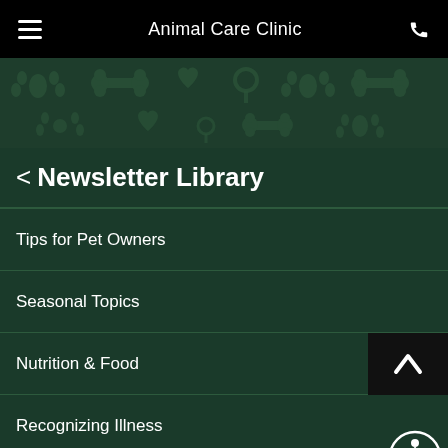Animal Care Clinic
[Figure (illustration): Dark green decorative banner with repeating pet-themed icons (paw prints, bones, hearts, stethoscopes) as a background pattern]
< Newsletter Library
Tips for Pet Owners
Seasonal Topics
Nutrition & Food
Recognizing Illness
Visiting the Vet